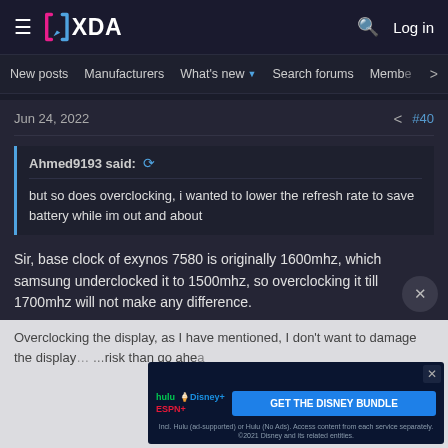XDA Developers - New posts | Manufacturers | What's new | Search forums | Members
Jun 24, 2022  #40
Ahmed9193 said: ↺
but so does overclocking, i wanted to lower the refresh rate to save battery while im out and about
Sir, base clock of exynos 7580 is originally 1600mhz, which samsung underclocked it to 1500mhz, so overclocking it till 1700mhz will not make any difference.
Overclocking the display, as I have mentioned, I don't want to damage the display... [ad overlay] ...risk than go ahea...
[Figure (screenshot): Disney Bundle advertisement banner with Hulu, Disney+, ESPN+ logos and GET THE DISNEY BUNDLE CTA button]